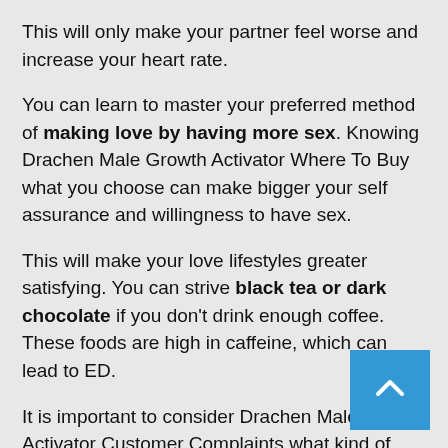This will only make your partner feel worse and increase your heart rate.
You can learn to master your preferred method of making love by having more sex. Knowing Drachen Male Growth Activator Where To Buy what you choose can make bigger your self assurance and willingness to have sex.
This will make your love lifestyles greater satisfying. You can strive black tea or dark chocolate if you don’t drink enough coffee. These foods are high in caffeine, which can lead to ED.
It is important to consider Drachen Male Growth Activator Customer Complaints what kind of food you are eating.